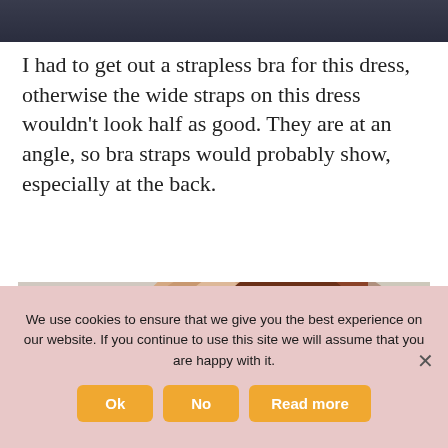[Figure (photo): Top portion of a photo showing a person wearing a dark navy blue dress, cropped at the top of the page]
I had to get out a strapless bra for this dress, otherwise the wide straps on this dress wouldn't look half as good. They are at an angle, so bra straps would probably show, especially at the back.
[Figure (photo): Photo showing the back of a person with auburn/red hair pinned up, wearing a dark navy blue sleeveless dress with textured pattern, showing the back/neck area]
We use cookies to ensure that we give you the best experience on our website. If you continue to use this site we will assume that you are happy with it.